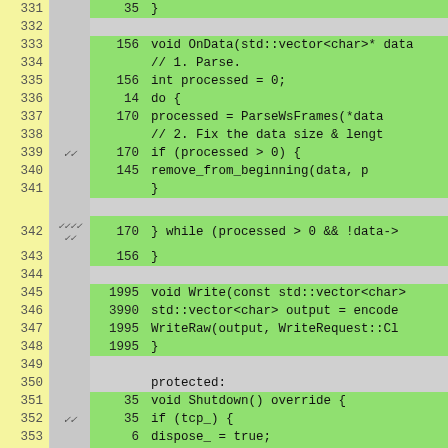[Figure (screenshot): Code coverage view showing C++ source lines 331-355 with line numbers, check marks, hit counts, and code content. Green background indicates covered lines, gray indicates uncovered or non-executable lines.]